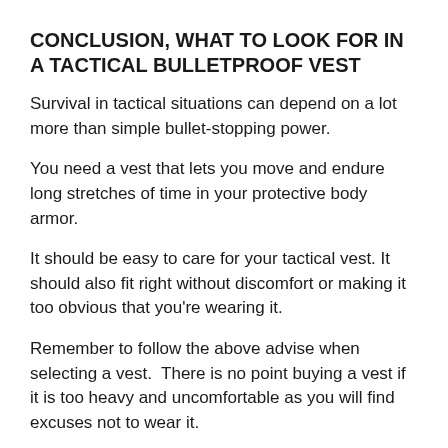CONCLUSION, WHAT TO LOOK FOR IN A TACTICAL BULLETPROOF VEST
Survival in tactical situations can depend on a lot more than simple bullet-stopping power.
You need a vest that lets you move and endure long stretches of time in your protective body armor.
It should be easy to care for your tactical vest. It should also fit right without discomfort or making it too obvious that you're wearing it.
Remember to follow the above advise when selecting a vest.  There is no point buying a vest if it is too heavy and uncomfortable as you will find excuses not to wear it.